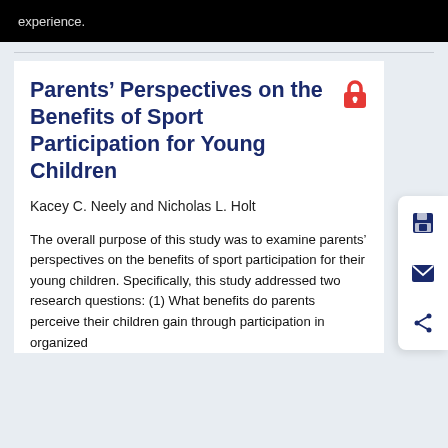experience.
Parents' Perspectives on the Benefits of Sport Participation for Young Children
Kacey C. Neely and Nicholas L. Holt
The overall purpose of this study was to examine parents' perspectives on the benefits of sport participation for their young children. Specifically, this study addressed two research questions: (1) What benefits do parents perceive their children gain through participation in organized